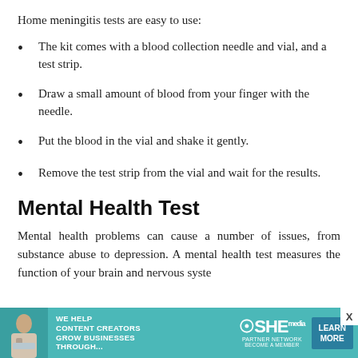Home meningitis tests are easy to use:
The kit comes with a blood collection needle and vial, and a test strip.
Draw a small amount of blood from your finger with the needle.
Put the blood in the vial and shake it gently.
Remove the test strip from the vial and wait for the results.
Mental Health Test
Mental health problems can cause a number of issues, from substance abuse to depression. A mental health test measures the function of your brain and nervous syste
[Figure (infographic): Advertisement banner for SHE Media Partner Network with teal background, photo of woman, text 'WE HELP CONTENT CREATORS GROW BUSINESSES THROUGH...', SHE logo, LEARN MORE button.]